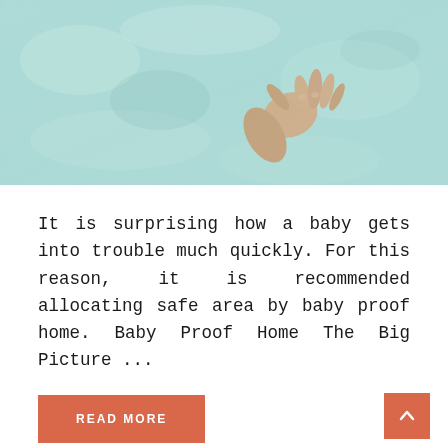[Figure (photo): Close-up photo of a baby's hand touching a light teal/mint colored fluffy shag carpet]
It is surprising how a baby gets into trouble much quickly. For this reason, it is recommended allocating safe area by baby proof home. Baby Proof Home The Big Picture ...
READ MORE
Baby Care, Safety
Leave a comment